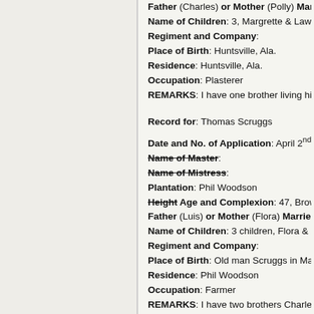Father (Charles) or Mother (Polly) Marri
Name of Children: 3, Margrette & Lawre
Regiment and Company:
Place of Birth: Huntsville, Ala.
Residence: Huntsville, Ala.
Occupation: Plasterer
REMARKS: I have one brother living his
Record for: Thomas Scruggs
Date and No. of Application: April 2nd, 1
Name of Master:
Name of Mistress:
Plantation: Phil Woodson
Height Age and Complexion: 47, Brown
Father (Luis) or Mother (Flora) Married?
Name of Children: 3 children, Flora & Mi
Regiment and Company:
Place of Birth: Old man Scruggs in Madi
Residence: Phil Woodson
Occupation: Farmer
REMARKS: I have two brothers Charles a
Record for: Charles Jenkins
Date and No. of Application: April 3rd, 1
Name of Master: